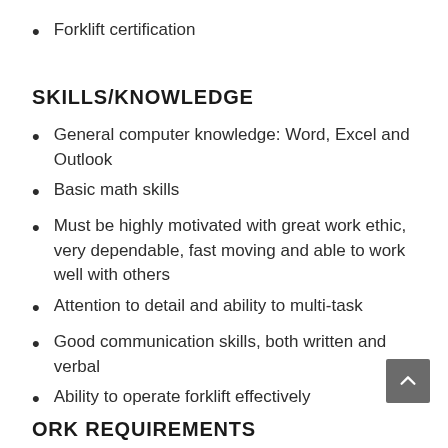Forklift certification
SKILLS/KNOWLEDGE
General computer knowledge: Word, Excel and Outlook
Basic math skills
Must be highly motivated with great work ethic, very dependable, fast moving and able to work well with others
Attention to detail and ability to multi-task
Good communication skills, both written and verbal
Ability to operate forklift effectively
CompanyBox Rewards
ORK REQUIREMENTS